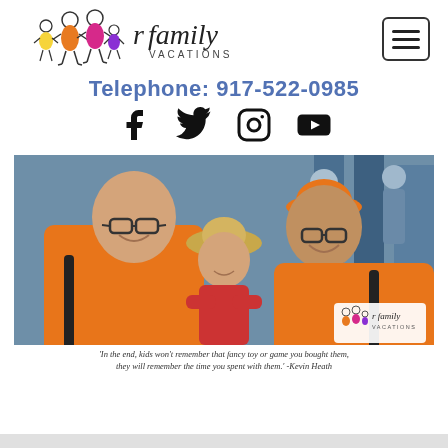[Figure (logo): r family vacations logo with stick figure illustrations of a family (adults and children) in orange, yellow, magenta/pink, and purple, next to stylized text reading 'r family VACATIONS']
Telephone: 917-522-0985
[Figure (infographic): Social media icons row: Facebook, Twitter, Instagram, YouTube]
[Figure (photo): Two men in orange r family vacations t-shirts holding a baby/toddler wearing a straw hat and red outfit. They are smiling. An r family vacations watermark logo appears in the bottom-right corner of the photo.]
'In the end, kids won't remember that fancy toy or game you bought them, they will remember the time you spent with them.' -Kevin Heath